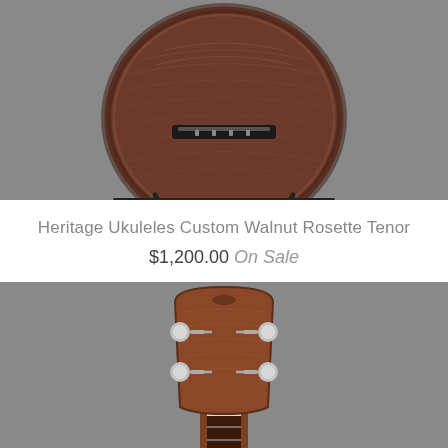[Figure (photo): Photo of the back of a Heritage Ukuleles Custom Walnut Rosette Tenor ukulele with rich wood grain, displayed on a black metal stand against a grey background.]
Heritage Ukuleles Custom Walnut Rosette Tenor
$1,200.00 On Sale
[Figure (photo): Close-up photo of the headstock of a Heritage Ukuleles Custom Walnut Rosette Tenor ukulele showing four chrome tuning pegs, against a grey background.]